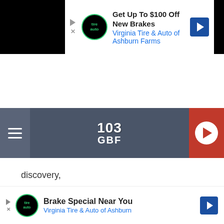[Figure (screenshot): Top advertisement banner: Virginia Tire & Auto brake special offer. Text: 'Get Up To $100 Off New Brakes Virginia Tire & Auto of Ashburn Farms']
[Figure (screenshot): 103 GBF radio station header with hamburger menu on left, 103 GBF logo in center, red play button on right]
[Figure (screenshot): Listen Now bar with red button and KC text on dark background]
[Figure (screenshot): Share and Tweet social media buttons]
discovery,
ADVERTISEMENT
[Figure (screenshot): Bottom advertisement: Brake Special Near You - Virginia Tire & Auto of Ashburn]